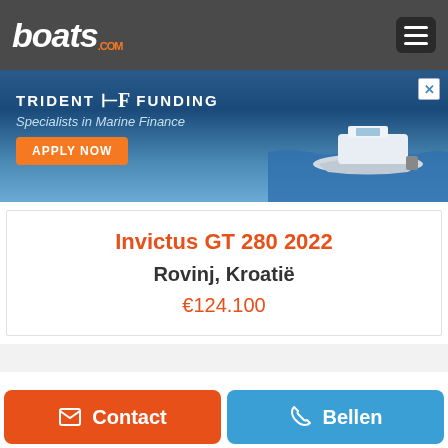boats.com
[Figure (infographic): Trident Funding advertisement banner with boat image, APPLY NOW button, and tagline 'Specialists in Marine Finance']
Invictus GT 280 2022
Rovinj, Kroatië
€124.100
Contact
Bellen